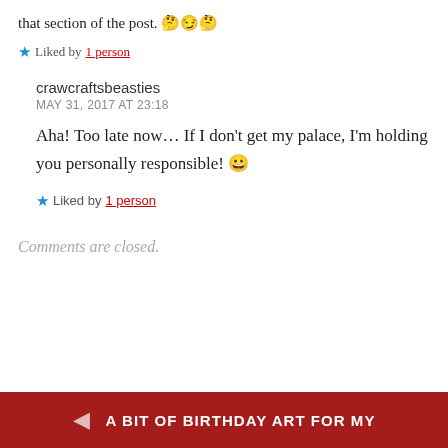that section of the post. 🤔😏🤔
★ Liked by 1 person
crawcraftsbeasties
MAY 31, 2017 AT 23:18
Aha! Too late now… If I don't get my palace, I'm holding you personally responsible! 😀
★ Liked by 1 person
Comments are closed.
A BIT OF BIRTHDAY ART FOR MY